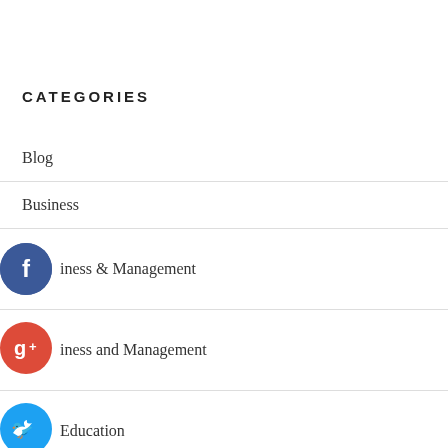CATEGORIES
Blog
Business
Business & Management
Business and Management
Education
Health and Fitness
Home and Garden